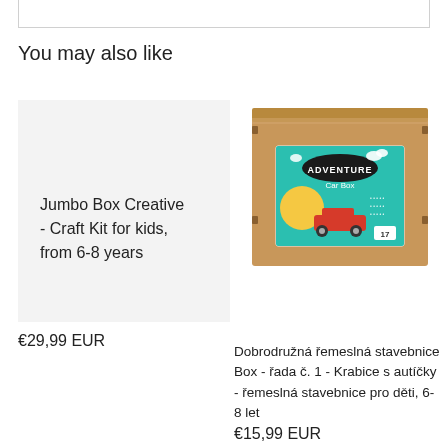You may also like
[Figure (photo): Light gray product card showing text: Jumbo Box Creative - Craft Kit for kids, from 6-8 years]
[Figure (photo): Photo of a cardboard box with Adventure Car Box label showing a colorful illustration with a red car]
€29,99 EUR
Dobrodružná řemeslná stavebnice Box - řada č. 1 - Krabice s autíčky - řemeslná stavebnice pro děti, 6-8 let
€15,99 EUR